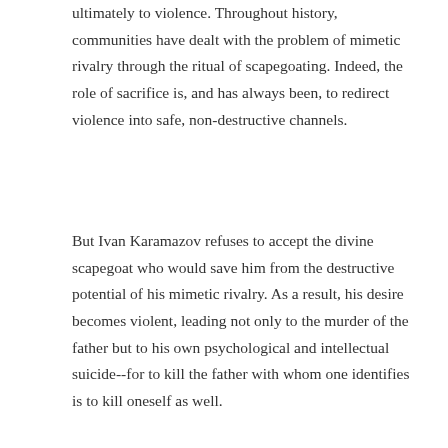ultimately to violence. Throughout history, communities have dealt with the problem of mimetic rivalry through the ritual of scapegoating. Indeed, the role of sacrifice is, and has always been, to redirect violence into safe, non-destructive channels.
But Ivan Karamazov refuses to accept the divine scapegoat who would save him from the destructive potential of his mimetic rivalry. As a result, his desire becomes violent, leading not only to the murder of the father but to his own psychological and intellectual suicide--for to kill the father with whom one identifies is to kill oneself as well.